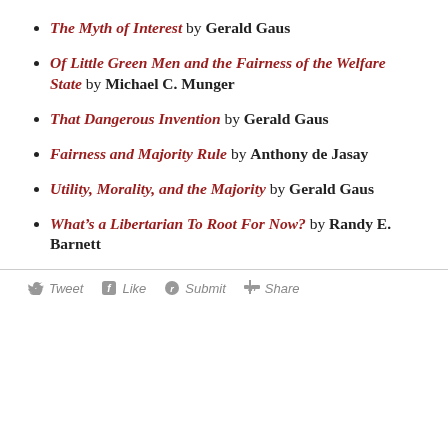The Myth of Interest by Gerald Gaus
Of Little Green Men and the Fairness of the Welfare State by Michael C. Munger
That Dangerous Invention by Gerald Gaus
Fairness and Majority Rule by Anthony de Jasay
Utility, Morality, and the Majority by Gerald Gaus
What's a Libertarian To Root For Now? by Randy E. Barnett
Tweet  Like  Submit  Share